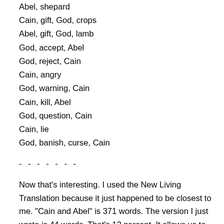Abel, shepard
Cain, gift, God, crops
Abel, gift, God, lamb
God, accept, Abel
God, reject, Cain
Cain, angry
God, warning, Cain
Cain, kill, Abel
God, question, Cain
Cain, lie
God, banish, curse, Cain
- - - - - - -
Now that's interesting. I used the New Living Translation because it just happened to be closest to me. "Cain and Abel" is 371 words. The version I just wrote is 44 words. That's 12 percent. It allows us to look at what the writer emphasizes. For instance, the two talks God has with Cain include a decent amount of dialogue and are quite expanded. The writer wanted to make those sections pop out and be noticed in the story.